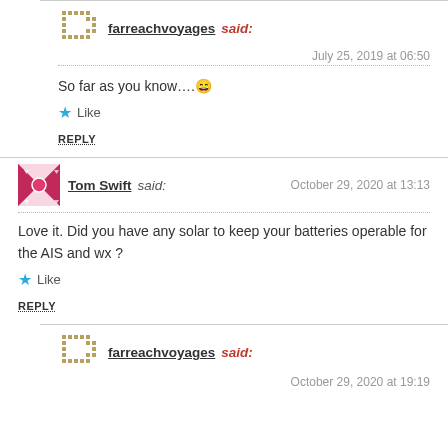farreachvoyages said: July 25, 2019 at 06:50
So far as you know….😄
Like
REPLY
Tom Swift said: October 29, 2020 at 13:13
Love it. Did you have any solar to keep your batteries operable for the AIS and wx ?
Like
REPLY
farreachvoyages said: October 29, 2020 at 19:19